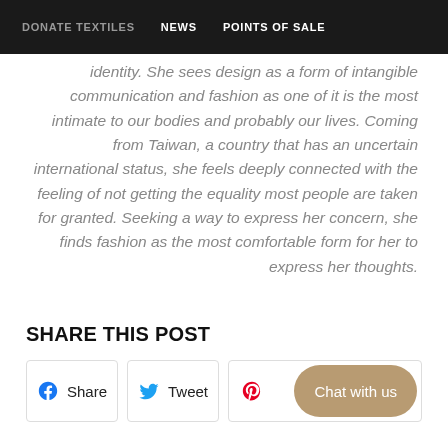DONATE TEXTILES   NEWS   POINTS OF SALE
identity. She sees design as a form of intangible communication and fashion as one of it is the most intimate to our bodies and probably our lives. Coming from Taiwan, a country that has an uncertain international status, she feels deeply connected with the feeling of not getting the equality most people are taken for granted. Seeking a way to express her concern, she finds fashion as the most comfortable form for her to express her thoughts.
SHARE THIS POST
Share   Tweet   Chat with us